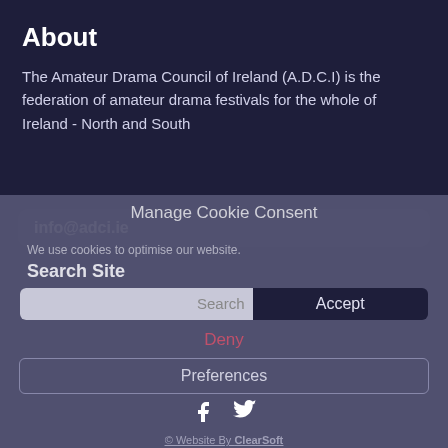About
The Amateur Drama Council of Ireland (A.D.C.I) is the federation of amateur drama festivals for the whole of Ireland - North and South
info@adci.ie
Manage Cookie Consent
We use cookies to optimise our website.
Search Site
Search
Accept
Deny
Preferences
© Website By ClearSoft